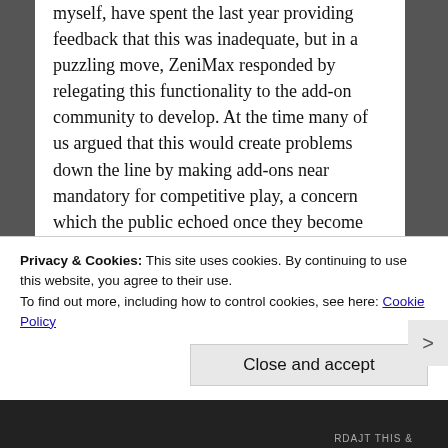myself, have spent the last year providing feedback that this was inadequate, but in a puzzling move, ZeniMax responded by relegating this functionality to the add-on community to develop. At the time many of us argued that this would create problems down the line by making add-ons near mandatory for competitive play, a concern which the public echoed once they become aware of the gap in functionality between the base UI and a modded one. In response, ZeniMax gutted the game's API, reneging on promises to its fans and the add-on developers they had deliberately recruited.
The main issue presented by this sudden change is that the game has always been designed...
Privacy & Cookies: This site uses cookies. By continuing to use this website, you agree to their use.
To find out more, including how to control cookies, see here: Cookie Policy